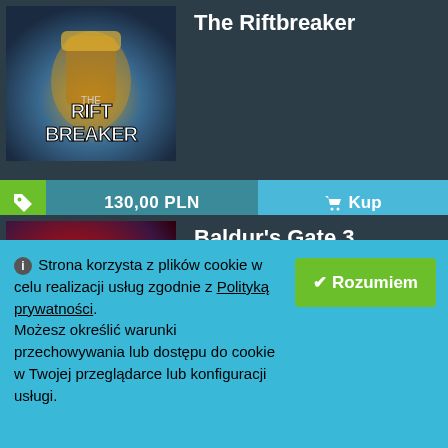[Figure (screenshot): Game thumbnail for The Riftbreaker - sci-fi mecha game art]
The Riftbreaker
130,00 PLN
Kup
[Figure (screenshot): Game thumbnail for Baldur's Gate 3 - NEW CLASS: BARD promotional art]
Baldur's Gate 3
ⓘ Strona korzysta z plików cookie w celu realizacji usług zgodnie z Polityką prywatności. Możesz określić warunki przechowywania lub dostępu do cookie w Twojej przeglądarce lub konfiguracji usługi.
✔ Rozumiem